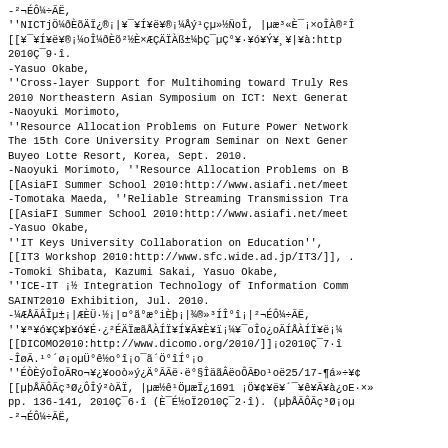-²¬ÉÔ¼÷ÃË,
''NICTjÖ¼ðÈõÄÏ¿®¡|¥¯¥Í¥ë¥®¡¼Åý¹çµ»½ÑoÎ, |µæ³«È¯¡×oÎÀ®²Î
[[¥¯¥Í¥ë¥®¡¼oÎ¼ðÈõ²½È×ÆÇÄÏÀß±¼þÇ¯µÇ°¥·¥ó¥Ý¥¸¥|¥à:http
2010Ç¯9·î.
-Yasuo Okabe,
''Cross-layer Support for Multihoming toward Truly Res
2010 Northeastern Asian Symposium on ICT: Next Generat
-Naoyuki Morimoto,
''Resource Allocation Problems on Future Power Network
The 15th Core University Program Seminar on Next Gener
Buyeo Lotte Resort, Korea, Sept. 2010.
-Naoyuki Morimoto, ''Resource Allocation Problems on B
[[AsiaFI Summer School 2010:http://www.asiafi.net/meet
-Tomotaka Maeda, ''Reliable Streaming Transmission Tra
[[AsiaFI Summer School 2010:http://www.asiafi.net/meet
-Yasuo Okabe,
''IT Keys University Collaboration on Education'',
[[IT3 Workshop 2010:http://www.sfc.wide.ad.jp/IT3/]], .
-Tomoki Shibata, Kazumi Sakai, Yasuo Okabe,
''ICE-IT ¡½ Integration Technology of Information Comm
SAINT2010 Exhibition, Jul. 2010.
-¼ÆÅÃÂÎµ±¡|ÆÈÜ·½¡|¤°ã°æ°iÈþ¡|¾®»³ÍÎ°î¡|²¬ÉÔ¼÷ÃË,
''¥ª¥ó¥Ç¥þ¥ó¥É·¿²ÉÄÏæãÅÀÍÏ¥Í¥Ã¥È¥ï¡¼¥¯oÎo¿oÄÍÅÀÍÏ¥ë¡¼
[[DICOMO2010:http://www.dicomo.org/2010/]]¡o2010Ç¯7·î
-ÎøÃ.¹°´ø¡oµÜ°ê½o°î¡o¯ã´Ö°îÍ°¡o
''ÉÒÈýoÎoÃRo¬¥¿¥ooò»ý¿Ä°ÃÃë·ë°§ÎäãÂëoÔÃÐo¹oë25/17-¶á»÷¥¢
[[µþÅÃÔÃç³Ø¿ÔÎý²òÄÏ, |µæ½ê¹ÖµæÏ¿1691 ¡Ö¥¢¥ë¥´¯¥ê¥Ã¥à¿oE·×»
pp. 136-141, 2010Ç¯6·î (È¯É½oÏ2010Ç¯2·î). (µþÅÃÔÃç³Ø¡oµ
-²¬ÉÔ¼÷ÃË,